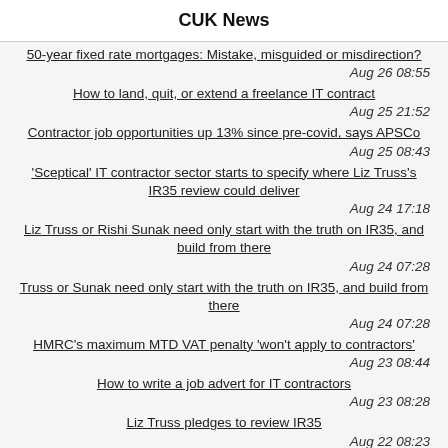CUK News
50-year fixed rate mortgages: Mistake, misguided or misdirection? | Aug 26 08:55
How to land, quit, or extend a freelance IT contract | Aug 25 21:52
Contractor job opportunities up 13% since pre-covid, says APSCo | Aug 25 08:43
'Sceptical' IT contractor sector starts to specify where Liz Truss's IR35 review could deliver | Aug 24 17:18
Liz Truss or Rishi Sunak need only start with the truth on IR35, and build from there | Aug 24 07:28
Truss or Sunak need only start with the truth on IR35, and build from there | Aug 24 07:28
HMRC's maximum MTD VAT penalty 'won't apply to contractors' | Aug 23 08:44
How to write a job advert for IT contractors | Aug 23 08:28
Liz Truss pledges to review IR35 | Aug 22 08:23